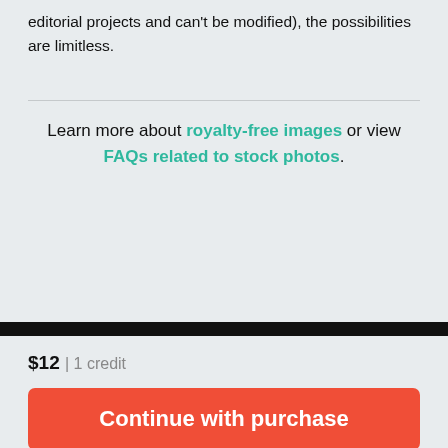editorial projects and can't be modified), the possibilities are limitless.
Learn more about royalty-free images or view FAQs related to stock photos.
[Figure (infographic): Blue banner notification: 'New to iStock? Find out how you can get special savings on your favorite images and videos.' with a See details button and a star icon circle.]
$12 | 1 credit
Continue with purchase